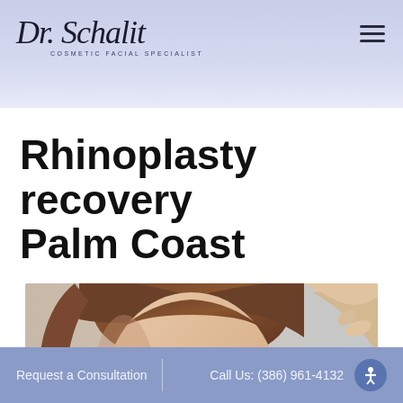[Figure (logo): Dr. Schalit Cosmetic Facial Specialist logo in script font with subtitle text]
Rhinoplasty recovery Palm Coast
[Figure (photo): Close-up portrait of a woman with brown hair pulled back, showing her face from a slight angle against a neutral background]
Request a Consultation  |  Call Us: (386) 961-4132